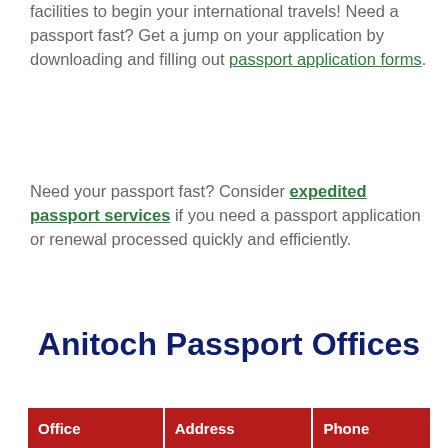facilities to begin your international travels! Need a passport fast? Get a jump on your application by downloading and filling out passport application forms.
Need your passport fast? Consider expedited passport services if you need a passport application or renewal processed quickly and efficiently.
Anitoch Passport Offices
| Office | Address | Phone |
| --- | --- | --- |